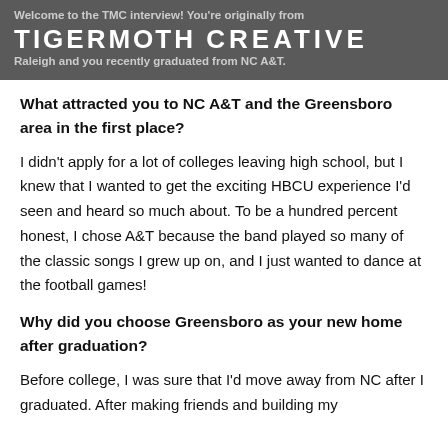Welcome to the TMC interview! You're originally from TIGERMOTH CREATIVE Raleigh and you recently graduated from NC A&T.
What attracted you to NC A&T and the Greensboro area in the first place?
I didn't apply for a lot of colleges leaving high school, but I knew that I wanted to get the exciting HBCU experience I'd seen and heard so much about. To be a hundred percent honest, I chose A&T because the band played so many of the classic songs I grew up on, and I just wanted to dance at the football games!
Why did you choose Greensboro as your new home after graduation?
Before college, I was sure that I'd move away from NC after I graduated. After making friends and building my